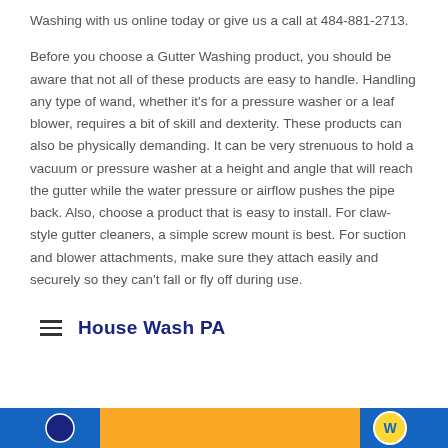Washing with us online today or give us a call at 484-881-2713.
Before you choose a Gutter Washing product, you should be aware that not all of these products are easy to handle. Handling any type of wand, whether it's for a pressure washer or a leaf blower, requires a bit of skill and dexterity. These products can also be physically demanding. It can be very strenuous to hold a vacuum or pressure washer at a height and angle that will reach the gutter while the water pressure or airflow pushes the pipe back. Also, choose a product that is easy to install. For claw-style gutter cleaners, a simple screw mount is best. For suction and blower attachments, make sure they attach easily and securely so they can't fall or fly off during use.
House Wash PA
[Figure (photo): Bottom banner image strip with blue and yellow colors, appearing to be a partial website header or image strip for House Wash PA]